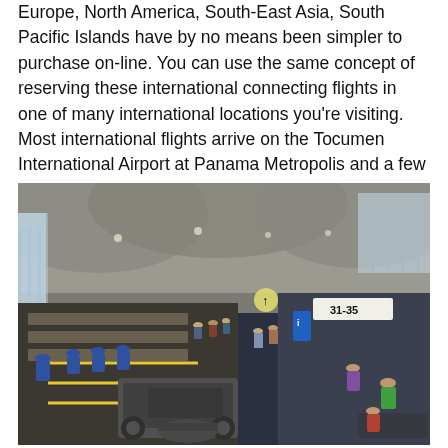Europe, North America, South-East Asia, South Pacific Islands have by no means been simpler to purchase on-line. You can use the same concept of reserving these international connecting flights in one of many international locations you're visiting. Most international flights arrive on the Tocumen International Airport at Panama Metropolis and a few flights arrive on the shut by Albrook Airport.
[Figure (photo): Interior of a large international airport terminal showing a busy security/check-in hall with travelers, luggage screening equipment in the foreground, a long row of check-in or security desks on the left, high concrete arched ceiling, large windows on the left side, and a wide concourse on the right with gate signs including 31-35.]